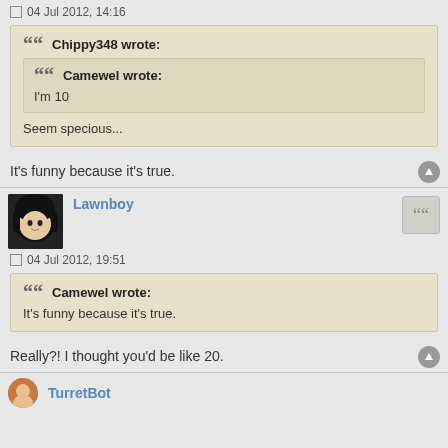04 Jul 2012, 14:16
Chippy348 wrote:
Camewel wrote:
I'm 10
Seem specious...
It's funny because it's true.
Lawnboy
04 Jul 2012, 19:51
Camewel wrote:
It's funny because it's true.
Really?! I thought you'd be like 20.
TurretBot